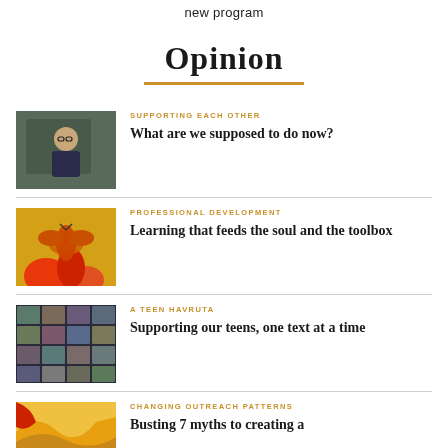new program
Opinion
SUPPORTING EACH OTHER — What are we supposed to do now?
PROFESSIONAL DEVELOPMENT — Learning that feeds the soul and the toolbox
A TEEN HAVRUTA — Supporting our teens, one text at a time
CHANGING OUTREACH PATTERNS — Busting 7 myths to creating a